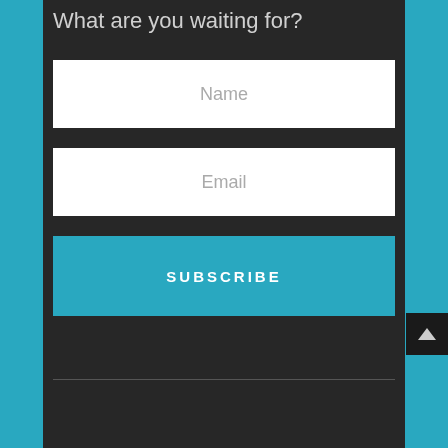What are you waiting for?
Name
Email
SUBSCRIBE